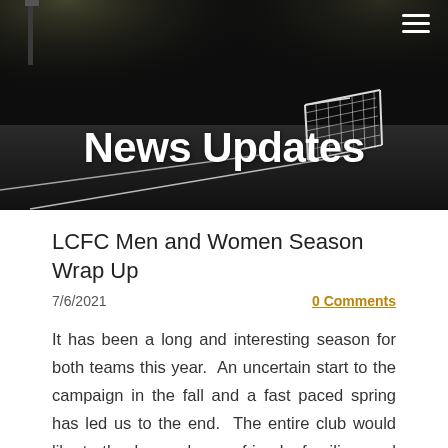[Figure (photo): Black and white night photo of a soccer/football field with floodlights and a goal net visible in the background.]
News Updates
LCFC Men and Women Season Wrap Up
7/6/2021
0 Comments
It has been a long and interesting season for both teams this year.  An uncertain start to the campaign in the fall and a fast paced spring has led us to the end.  The entire club would like to thank our players, friends, families, and sponsors